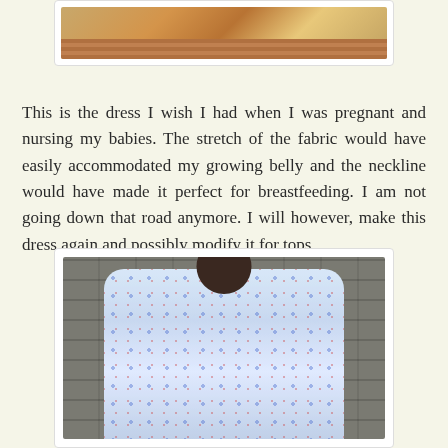[Figure (photo): Partial photo at top of page showing feet/legs on brick pavement with warm tones]
This is the dress I wish I had when I was pregnant and nursing my babies. The stretch of the fabric would have easily accommodated my growing belly and the neckline would have made it perfect for breastfeeding. I am not going down that road anymore. I will however, make this dress again and possibly modify it for tops.
[Figure (photo): Woman wearing a patterned wrap dress with blue, red geometric print, laughing and looking up, standing in front of a stone wall, wearing large round glasses and hoop earrings]